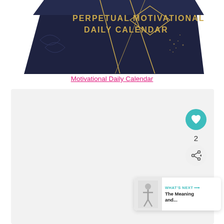[Figure (photo): Photo of a dark navy blue Perpetual Motivational Daily Calendar box with gold geometric pattern and gold text on the front face]
Motivational Daily Calendar
[Figure (screenshot): Gray card/content placeholder area with a teal heart/like button showing count of 2 and a share button, plus a What's Next card showing 'The Meaning and...' with a small figurine thumbnail]
WHAT'S NEXT → The Meaning and...